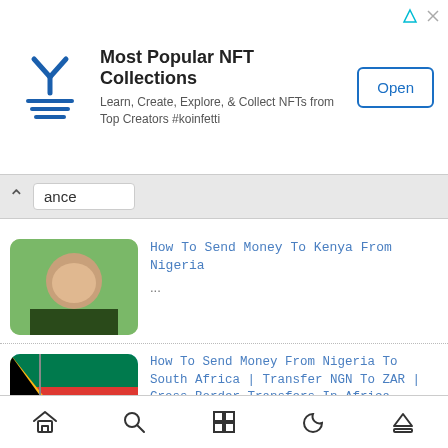[Figure (infographic): NFT app advertisement banner with logo, title 'Most Popular NFT Collections', subtitle text, and Open button]
ance
How To Send Money To Kenya From Nigeria
...
How To Send Money From Nigeria To South Africa | Transfer NGN To ZAR | Cross-Border Transfers In Africa
...
Forex Arbitrage‖ How To Trade Forex Arbitrage‖ Forex Arbitrage Trading Opportunities And Strategy
...
How Does Crypto Make You Money? How Can Crypto
Home | Search | Grid | Moon | Upload